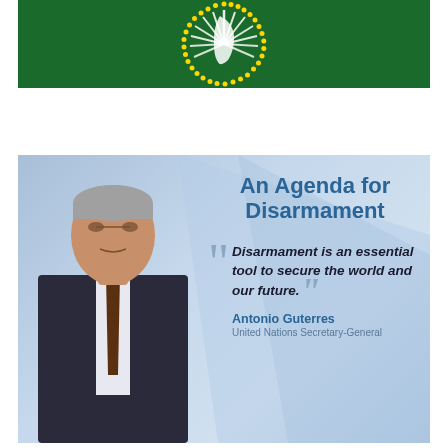[Figure (illustration): African Union flag/emblem on green background — white sunburst rays with gold stars forming a circle on dark green background]
[Figure (photo): Promotional image with light blue background and diagonal design element. Left side shows a photo of Antonio Guterres (United Nations Secretary-General), an older man in a dark suit. Right side has text: 'An Agenda for Disarmament' in bold blue, and an italic quote 'Disarmament is an essential tool to secure the world and our future.' attributed to Antonio Guterres, United Nations Secretary-General.]